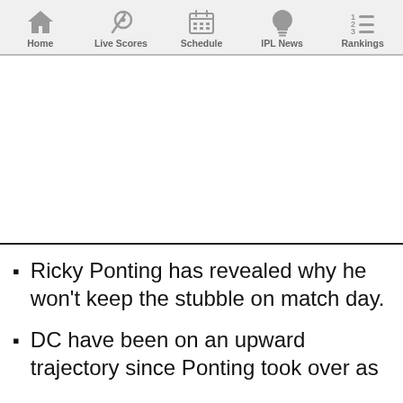Home | Live Scores | Schedule | IPL News | Rankings
[Figure (other): Advertisement banner area (blank white space)]
Ricky Ponting has revealed why he won't keep the stubble on match day.
DC have been on an upward trajectory since Ponting took over as